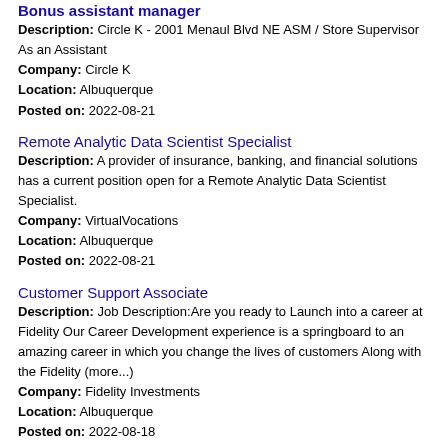Bonus assistant manager
Description: Circle K - 2001 Menaul Blvd NE ASM / Store Supervisor As an Assistant
Company: Circle K
Location: Albuquerque
Posted on: 2022-08-21
Remote Analytic Data Scientist Specialist
Description: A provider of insurance, banking, and financial solutions has a current position open for a Remote Analytic Data Scientist Specialist.
Company: VirtualVocations
Location: Albuquerque
Posted on: 2022-08-21
Customer Support Associate
Description: Job Description:Are you ready to Launch into a career at Fidelity Our Career Development experience is a springboard to an amazing career in which you change the lives of customers Along with the Fidelity (more...)
Company: Fidelity Investments
Location: Albuquerque
Posted on: 2022-08-18
Commerical Loan Specialist II
Description: Description The Commercial Loan Specialist II position for CLO-Capital Markets Operations, a division of Citizens Bank, N.A., is part of the Leasing Operations Team